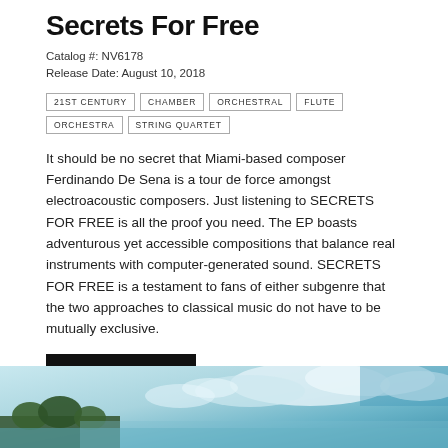Secrets For Free
Catalog #: NV6178
Release Date: August 10, 2018
21ST CENTURY
CHAMBER
ORCHESTRAL
FLUTE
ORCHESTRA
STRING QUARTET
It should be no secret that Miami-based composer Ferdinando De Sena is a tour de force amongst electroacoustic composers. Just listening to SECRETS FOR FREE is all the proof you need. The EP boasts adventurous yet accessible compositions that balance real instruments with computer-generated sound. SECRETS FOR FREE is a testament to fans of either subgenre that the two approaches to classical music do not have to be mutually exclusive.
DISCOVER ▶
[Figure (photo): Partial photo showing sky and landscape, blue and teal tones, at the bottom of the page]